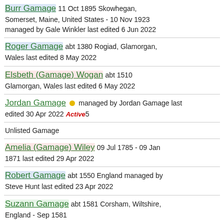Burr Gamage 11 Oct 1895 Skowhegan, Somerset, Maine, United States - 10 Nov 1923 managed by Gale Winkler last edited 6 Jun 2022
Roger Gamage abt 1380 Rogiad, Glamorgan, Wales last edited 8 May 2022
Elsbeth (Gamage) Wogan abt 1510 Glamorgan, Wales last edited 6 May 2022
Jordan Gamage managed by Jordan Gamage last edited 30 Apr 2022 Active5
Unlisted Gamage
Amelia (Gamage) Wiley 09 Jul 1785 - 09 Jan 1871 last edited 29 Apr 2022
Robert Gamage abt 1550 England managed by Steve Hunt last edited 23 Apr 2022
Suzann Gamage abt 1581 Corsham, Wiltshire, England - Sep 1581